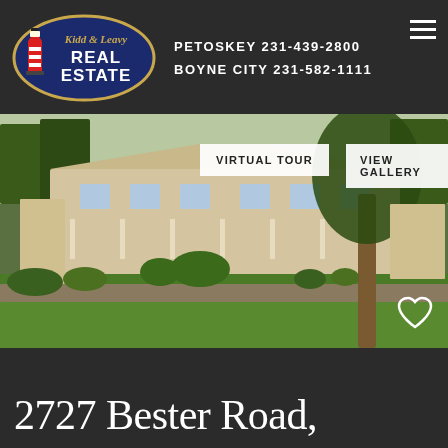[Figure (logo): Kidd & Leavy Real Estate logo — dark blue oval with gold border, red and white lighthouse, gold italic text 'Kidd & Leavy', white bold text 'REAL ESTATE']
PETOSKEY 231-439-2800
BOYNE CITY 231-582-1111
[Figure (photo): Exterior photo of a large residential home with covered porches, surrounded by mature trees and a green lawn, photographed from a low angle looking uphill]
VIRTUAL TOUR
VIEW GALLERY
2727 Bester Road,